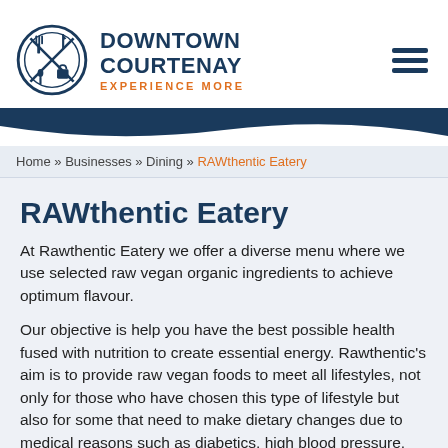[Figure (logo): Downtown Courtenay logo with circular icon showing crossed utensils and bag, navy blue text reading DOWNTOWN COURTENAY and orange tagline EXPERIENCE MORE]
Home » Businesses » Dining » RAWthentic Eatery
RAWthentic Eatery
At Rawthentic Eatery we offer a diverse menu where we use selected raw vegan organic ingredients to achieve optimum flavour.
Our objective is help you have the best possible health fused with nutrition to create essential energy. Rawthentic's aim is to provide raw vegan foods to meet all lifestyles, not only for those who have chosen this type of lifestyle but also for some that need to make dietary changes due to medical reasons such as diabetics, high blood pressure, food